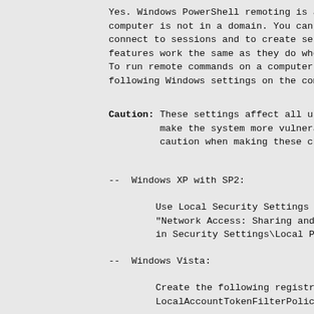Yes. Windows PowerShell remoting is availab computer is not in a domain. You can use the connect to sessions and to create sessions o features work the same as they do when you d
To run remote commands on a computer in a wo following Windows settings on the computer.
Caution: These settings affect all users on make the system more vulnerable to caution when making these changes.
-- Windows XP with SP2:
Use Local Security Settings (Secpol.msc "Network Access: Sharing and security mo in Security Settings\Local Policies\Secu
-- Windows Vista:
Create the following registry entry, and LocalAccountTokenFilterPolicy in